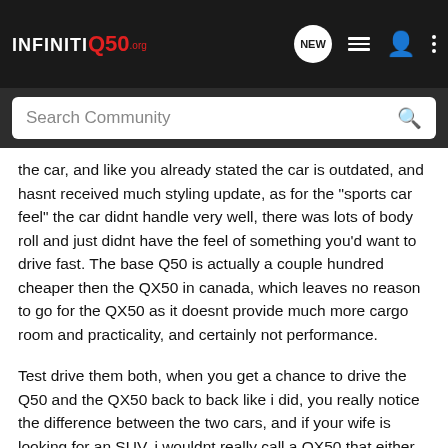INFINITI Q50.org — Navigation bar with NEW, list, user, and menu icons
Search Community
the car, and like you already stated the car is outdated, and hasnt received much styling update, as for the "sports car feel" the car didnt handle very well, there was lots of body roll and just didnt have the feel of something you'd want to drive fast. The base Q50 is actually a couple hundred cheaper then the QX50 in canada, which leaves no reason to go for the QX50 as it doesnt provide much more cargo room and practicality, and certainly not performance.
Test drive them both, when you get a chance to drive the Q50 and the QX50 back to back like i did, you really notice the difference between the two cars, and if your wife is looking for an SUV, i wouldnt really call a QX50 that either, more of a cross over, and i'd think a Q50 would be able to do whatever a QX50 could in the show, as the QX doesnt have much more ground